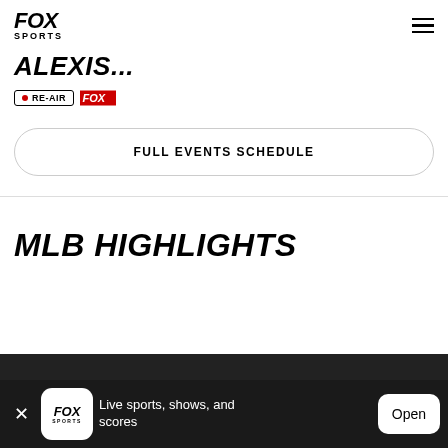FOX Sports
ALEXIS...
• RE-AIR  FOX Deportes
FULL EVENTS SCHEDULE
MLB HIGHLIGHTS
Live sports, shows, and scores  Open